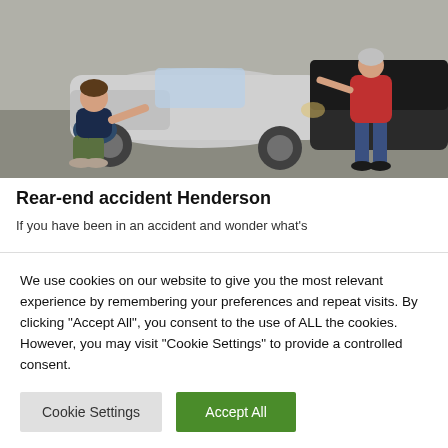[Figure (photo): A man crouching down inspecting damage on the front of a silver car after a rear-end collision, while a woman in jeans stands by a dark car on the right side.]
Rear-end accident Henderson
If you have been in an accident and wonder what's
We use cookies on our website to give you the most relevant experience by remembering your preferences and repeat visits. By clicking “Accept All”, you consent to the use of ALL the cookies. However, you may visit "Cookie Settings" to provide a controlled consent.